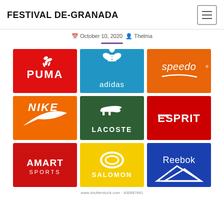FESTIVAL DE-GRANADA
October 10, 2020  Thelma
[Figure (logo): 3x3 grid of sports brand logos: Puma (red), Adidas (blue), Speedo (orange), Nike (orange), Lacoste (dark green), Esprit (red), Amart Sports (red), Salomon (yellow), Reebok (blue). Shutterstock watermark overlay. Image ID: 400887661]
www.shutterstock.com · 400887661